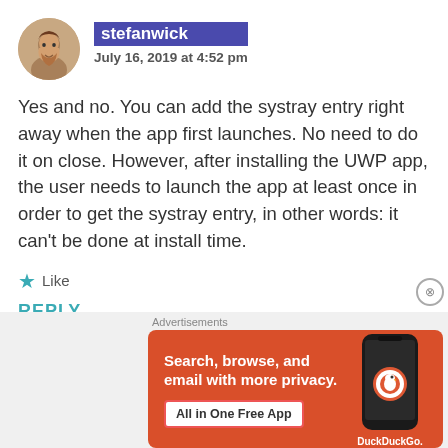stefanwick
July 16, 2019 at 4:52 pm
Yes and no. You can add the systray entry right away when the app first launches. No need to do it on close. However, after installing the UWP app, the user needs to launch the app at least once in order to get the systray entry, in other words: it can’t be done at install time.
Like
REPLY
Advertisements
[Figure (infographic): DuckDuckGo advertisement banner with orange background. Text reads: Search, browse, and email with more privacy. All in One Free App. Shows a smartphone with DuckDuckGo logo.]